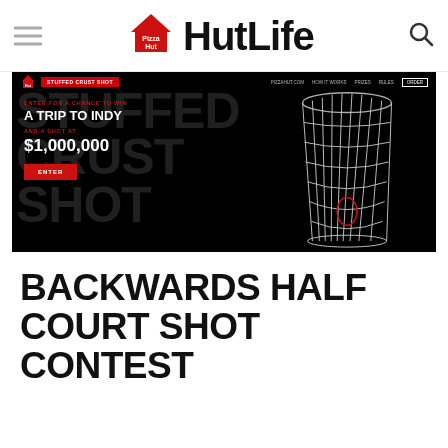Pizza Hut Life
[Figure (screenshot): Screenshot of Pizza Hut Stuffed Crust Shot promotional website with black background. Navigation bar shows Pizza Hut logo, 'Stuffed Crust Shot' button, links for PIZZAHUT.COM, HOW IT WORKS, PRIZES, RULES, and ORDER button. Large dark watermark text reads 'STUFFED CRUST SHOT'. Center content shows 'ENTER FOR A CHANCE TO WIN', 'A TRIP TO INDY', 'AND A SHOT AT', '$1,000,000', and red ENTER button. Right side shows basketball net illustration.]
BACKWARDS HALF COURT SHOT CONTEST